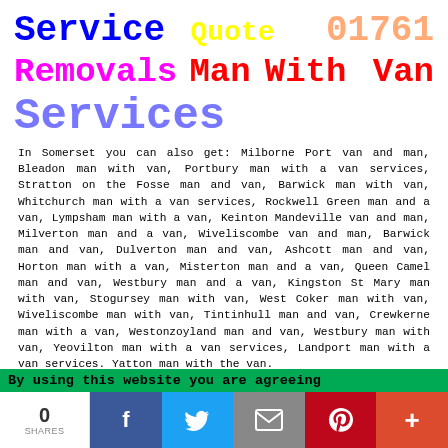Service   Quote   01761
Removals   Man   With   Van
Services
In Somerset you can also get: Milborne Port van and man, Bleadon man with van, Portbury man with a van services, Stratton on the Fosse man and van, Barwick man with van, Whitchurch man with a van services, Rockwell Green man and a van, Lympsham man with a van, Keinton Mandeville van and man, Milverton man and a van, Wiveliscombe van and man, Barwick man and van, Dulverton man and van, Ashcott man and van, Horton man with a van, Misterton man and a van, Queen Camel man and van, Westbury man and a van, Kingston St Mary man with van, Stogursey man with van, West Coker man with van, Wiveliscombe man with van, Tintinhull man and van, Crewkerne man with a van, Westonzoyland man and van, Westbury man with van, Yeovilton man with a van services, Landport man with a van services. Yatton man with the van.
By using this website you are agreeing
0 SHARES  [social share buttons: Facebook, Twitter, Email, Pinterest, Plus]